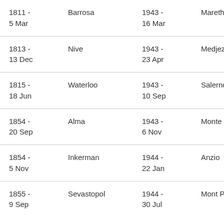| 1811 - 5 Mar | Barrosa | 1943 - 16 Mar | Mareth |
| 1813 - 13 Dec | Nive | 1943 - 23 Apr | Medjez Plain |
| 1815 - 18 Jun | Waterloo | 1943 - 10 Sep | Salerno |
| 1854 - 20 Sep | Alma | 1943 - 6 Nov | Monte Camino |
| 1854 - 5 Nov | Inkerman | 1944 - 22 Jan | Anzio |
| 1855 - 9 Sep | Sevastopol | 1944 - 30 Jul | Mont Pincon |